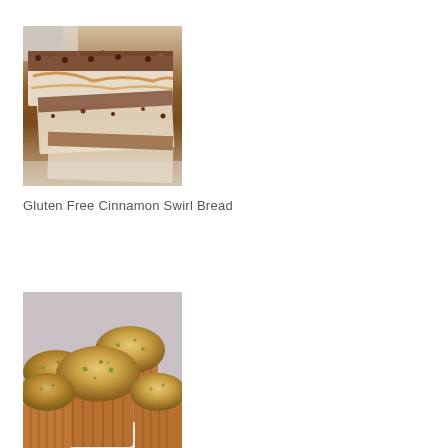[Figure (photo): Close-up photo of sliced gluten free cinnamon swirl bread with crumbly cinnamon streusel topping, showing the swirl pattern inside, arranged on a surface with a coffee mug partially visible in the background.]
Gluten Free Cinnamon Swirl Bread
[Figure (photo): Photo of several golden-brown muffins in paper cupcake liners, piled on a white plate. The muffins appear to have a slightly greenish tint suggesting a vegetable ingredient like spinach or zucchini.]